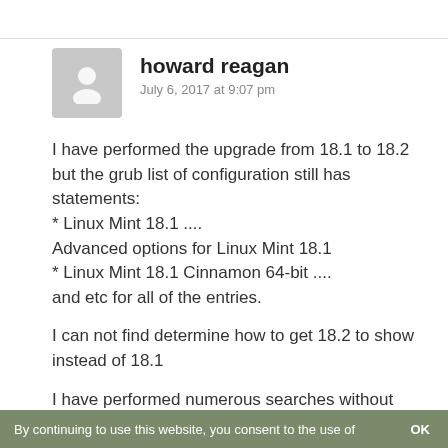[Figure (illustration): Gray avatar placeholder image showing a generic person silhouette]
howard reagan
July 6, 2017 at 9:07 pm
I have performed the upgrade from 18.1 to 18.2 but the grub list of configuration still has statements:
* Linux Mint 18.1 ....
Advanced options for Linux Mint 18.1
* Linux Mint 18.1 Cinnamon 64-bit ....
and etc for all of the entries.
I can not find determine how to get 18.2 to show instead of 18.1
I have performed numerous searches without finding a solution>
By continuing to use this website, you consent to the use of   OK